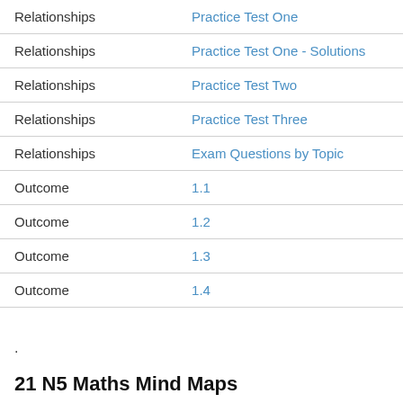| Category | Link |
| --- | --- |
| Relationships | Practice Test One |
| Relationships | Practice Test One - Solutions |
| Relationships | Practice Test Two |
| Relationships | Practice Test Three |
| Relationships | Exam Questions by Topic |
| Outcome | 1.1 |
| Outcome | 1.2 |
| Outcome | 1.3 |
| Outcome | 1.4 |
.
21  N5 Maths Mind Maps